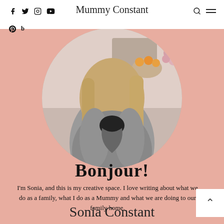Mummy Constant
[Figure (photo): Circular profile photo of Sonia Constant wearing a grey fluffy cardigan, kitchen background visible, on pink background]
Bonjour!
I'm Sonia, and this is my creative space. I love writing about what we do as a family, what I do as a Mummy and what we are doing to our family home.
Sonia Constant